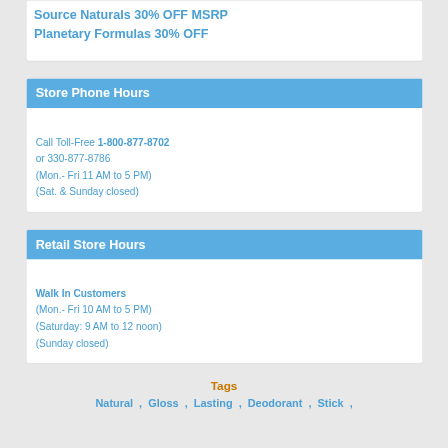Source Naturals 30% OFF MSRP
Planetary Formulas 30% OFF
Store Phone Hours
Call Toll-Free 1-800-877-8702
or 330-877-8786
(Mon.- Fri 11 AM to 5 PM)
(Sat. & Sunday closed)
Retail Store Hours
Walk In Customers
(Mon.- Fri 10 AM to 5 PM)
(Saturday: 9 AM to 12 noon)
(Sunday closed)
Tags
Natural , Gloss , Lasting , Deodorant , Stick ,